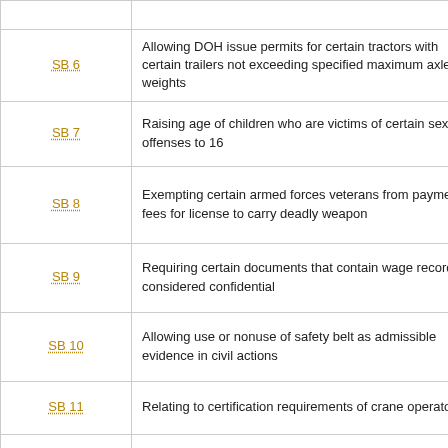| Bill | Description |
| --- | --- |
| SB 6 | Allowing DOH issue permits for certain tractors with certain trailers not exceeding specified maximum axle weights |
| SB 7 | Raising age of children who are victims of certain sex offenses to 16 |
| SB 8 | Exempting certain armed forces veterans from payment of fees for license to carry deadly weapon |
| SB 9 | Requiring certain documents that contain wage records be considered confidential |
| SB 10 | Allowing use or nonuse of safety belt as admissible evidence in civil actions |
| SB 11 | Relating to certification requirements of crane operators |
| SB 12 | Prohibiting lobbying by counsel of state boards and commissions |
| SB 13 | Increasing burglary penalty if crime against another person |